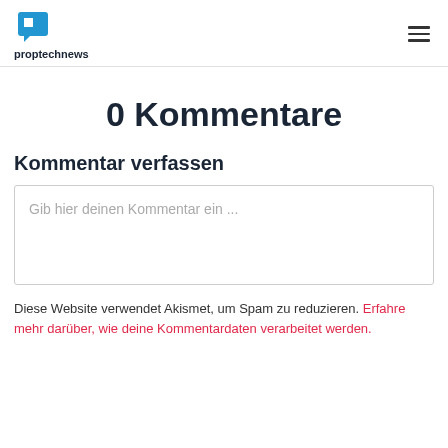proptechnews
0 Kommentare
Kommentar verfassen
Gib hier deinen Kommentar ein ...
Diese Website verwendet Akismet, um Spam zu reduzieren. Erfahre mehr darüber, wie deine Kommentardaten verarbeitet werden.